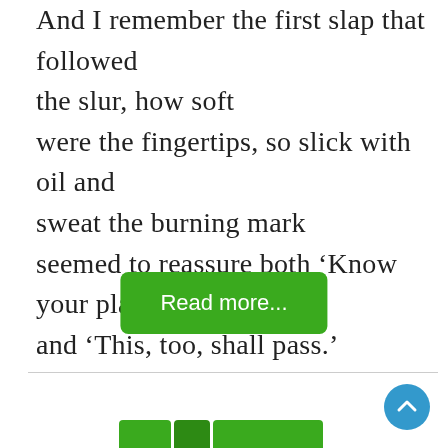And I remember the first slap that followed the slur, how soft were the fingertips, so slick with oil and sweat the burning mark seemed to reassure both ‘Know your place’ and ‘This, too, shall pass.’
Read more...
[Figure (other): Scroll-to-top circular blue button with upward chevron arrow, bottom right corner]